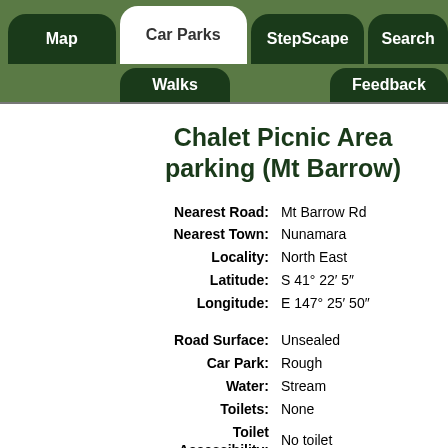Map | Car Parks | StepScape | Search | Walks | Feedback
Chalet Picnic Area parking (Mt Barrow)
| Field | Value |
| --- | --- |
| Nearest Road: | Mt Barrow Rd |
| Nearest Town: | Nunamara |
| Locality: | North East |
| Latitude: | S 41° 22′ 5″ |
| Longitude: | E 147° 25′ 50″ |
| Road Surface: | Unsealed |
| Car Park: | Rough |
| Water: | Stream |
| Toilets: | None |
| Toilet Accessibility: | No toilet |
| Shelter: | Shelter |